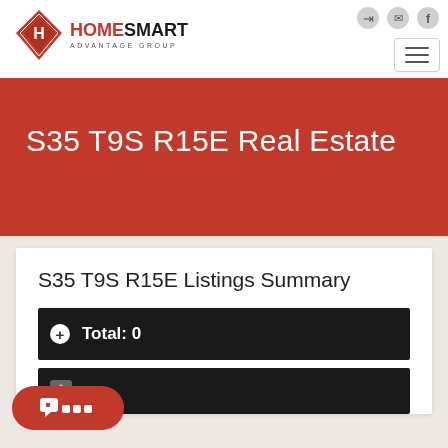[Figure (logo): HomeSmart Advantage Group logo with red diamond and text]
S35 T9S R15E Real Estate
S35 T9S R15E Listings Summary
Total: 0